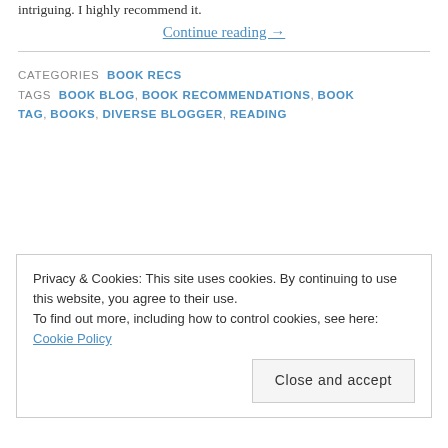intriguing. I highly recommend it.
Continue reading →
CATEGORIES  BOOK RECS
TAGS  BOOK BLOG, BOOK RECOMMENDATIONS, BOOK TAG, BOOKS, DIVERSE BLOGGER, READING
Privacy & Cookies: This site uses cookies. By continuing to use this website, you agree to their use.
To find out more, including how to control cookies, see here: Cookie Policy
Close and accept